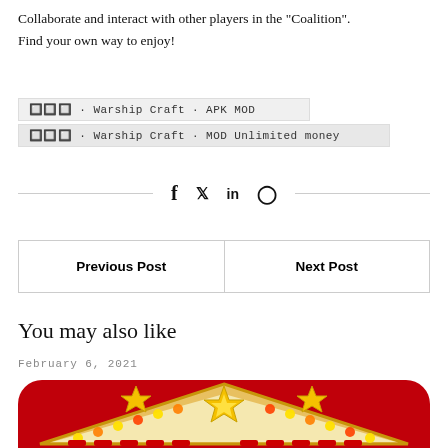Collaborate and interact with other players in the "Coalition".
Find your own way to enjoy!
🔲🔲🔲 · Warship Craft · APK MOD
🔲🔲🔲 · Warship Craft · MOD Unlimited money
[Figure (other): Social sharing icons: facebook (f), twitter (bird), linkedin (in), pinterest (pin symbol) between two horizontal lines]
| Previous Post | Next Post |
| --- | --- |
You may also like
February 6, 2021
[Figure (photo): Casino-style illuminated sign with red background, gold star bursts and glowing yellow lights along a triangular marquee shape]